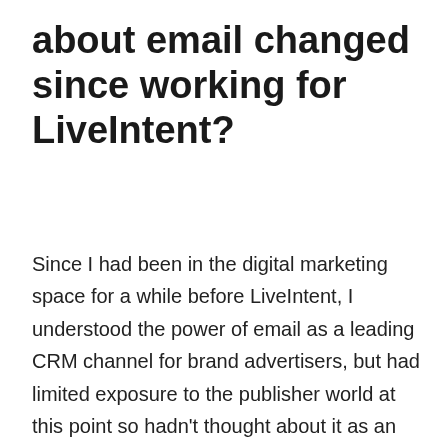about email changed since working for LiveIntent?
Since I had been in the digital marketing space for a while before LiveIntent, I understood the power of email as a leading CRM channel for brand advertisers, but had limited exposure to the publisher world at this point so hadn't thought about it as an additional revenue stream. As soon as I started having conversations with people at